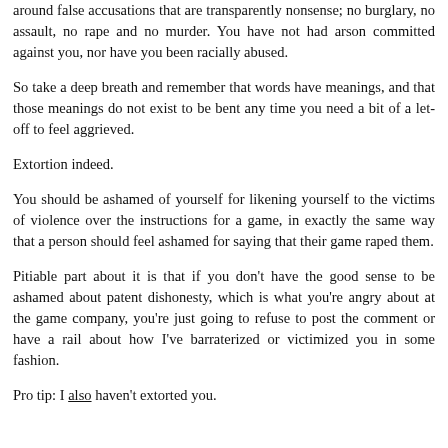around false accusations that are transparently nonsense; no burglary, no assault, no rape and no murder. You have not had arson committed against you, nor have you been racially abused.
So take a deep breath and remember that words have meanings, and that those meanings do not exist to be bent any time you need a bit of a let-off to feel aggrieved.
Extortion indeed.
You should be ashamed of yourself for likening yourself to the victims of violence over the instructions for a game, in exactly the same way that a person should feel ashamed for saying that their game raped them.
Pitiable part about it is that if you don't have the good sense to be ashamed about patent dishonesty, which is what you're angry about at the game company, you're just going to refuse to post the comment or have a rail about how I've barraterized or victimized you in some fashion.
Pro tip: I also haven't extorted you.